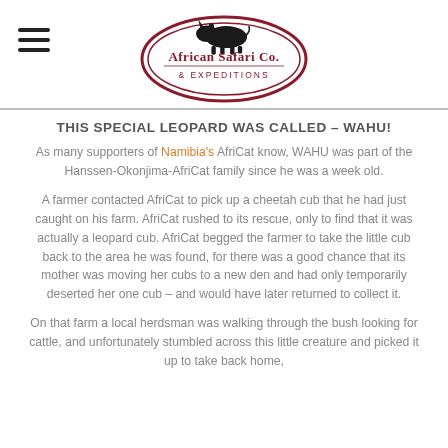[Figure (logo): African Safari Co. & Expeditions logo — dark red oval border with a black rhino silhouette on top and the company name text inside]
THIS SPECIAL LEOPARD WAS CALLED – WAHU!
As many supporters of Namibia's AfriCat know, WAHU was part of the Hanssen-Okonjima-AfriCat family since he was a week old.
A farmer contacted AfriCat to pick up a cheetah cub that he had just caught on his farm. AfriCat rushed to its rescue, only to find that it was actually a leopard cub. AfriCat begged the farmer to take the little cub back to the area he was found, for there was a good chance that its mother was moving her cubs to a new den and had only temporarily deserted her one cub – and would have later returned to collect it.
On that farm a local herdsman was walking through the bush looking for cattle, and unfortunately stumbled across this little creature and picked it up to take back home,